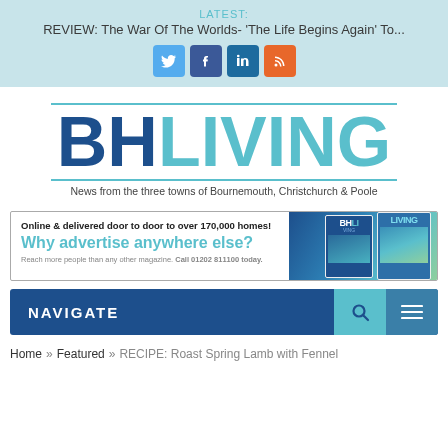LATEST: REVIEW: The War Of The Worlds- 'The Life Begins Again' To...
[Figure (screenshot): Social media icon buttons: Twitter (blue), Facebook (dark blue), LinkedIn (dark blue), RSS (orange)]
[Figure (logo): BH LIVING logo with tagline: News from the three towns of Bournemouth, Christchurch & Poole]
[Figure (infographic): Advertisement banner: Online & delivered door to door to over 170,000 homes! Why advertise anywhere else? Reach more people than any other magazine. Call 01202 811100 today.]
NAVIGATE
Home » Featured » RECIPE: Roast Spring Lamb with Fennel